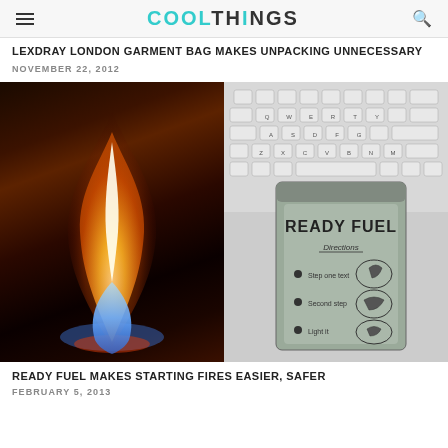COOLTHINGS
LEXDRAY LONDON GARMENT BAG MAKES UNPACKING UNNECESSARY
NOVEMBER 22, 2012
[Figure (photo): Left: a blue and orange gas flame on a dark brown background; Right: a Ready Fuel fire-starter packet in grayscale, lying on a white keyboard]
READY FUEL MAKES STARTING FIRES EASIER, SAFER
FEBRUARY 5, 2013